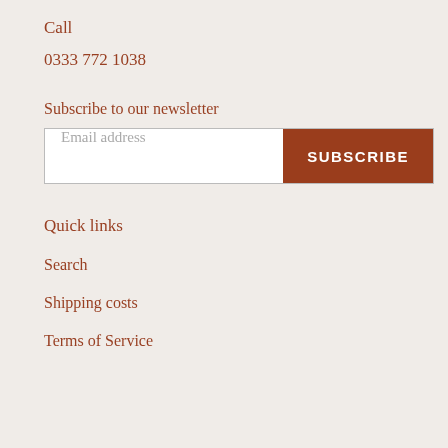Call
0333 772 1038
Subscribe to our newsletter
[Figure (other): Email subscription form with an email address input field and a SUBSCRIBE button]
Quick links
Search
Shipping costs
Terms of Service